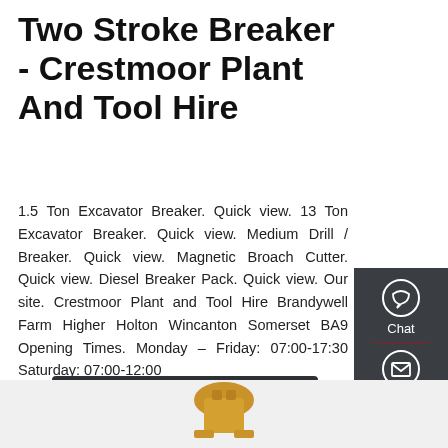Two Stroke Breaker - Crestmoor Plant And Tool Hire
1.5 Ton Excavator Breaker. Quick view. 13 Ton Excavator Breaker. Quick view. Medium Drill / Breaker. Quick view. Magnetic Broach Cutter. Quick view. Diesel Breaker Pack. Quick view. Our site. Crestmoor Plant and Tool Hire Brandywell Farm Higher Holton Wincanton Somerset BA9 Opening Times. Monday – Friday: 07:00-17:30 Saturday: 07:00-12:00
[Figure (screenshot): Get a Quote button (dark grey/charcoal rounded rectangle)]
[Figure (infographic): Right sidebar with Chat (speech bubble icon), Email (envelope icon), and Contact (chat dots icon) options on dark grey background with red accent lines]
[Figure (photo): Bottom partial image of yellow/gold construction equipment]